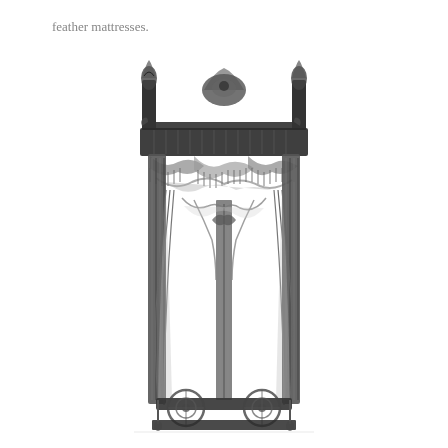feather mattresses.
[Figure (illustration): A detailed black and white illustration of an ornate four-poster canopy bed with elaborate carved decorations at the top, draped curtains on the sides, decorative swags and fringes along the canopy, and visible bed frame with circular wheel-like details at the base. The bed is rendered in a classical engraving style.]